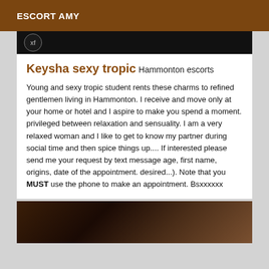ESCORT AMY
[Figure (photo): Dark banner image with xf badge/logo on left]
Keysha sexy tropic
Hammonton escorts
Young and sexy tropic student rents these charms to refined gentlemen living in Hammonton. I receive and move only at your home or hotel and I aspire to make you spend a moment. privileged between relaxation and sensuality. I am a very relaxed woman and I like to get to know my partner during social time and then spice things up.... If interested please send me your request by text message age, first name, origins, date of the appointment. desired...). Note that you MUST use the phone to make an appointment. Bsxxxxxx
[Figure (photo): Dark photo at bottom of page, appears to show a dimly lit scene]